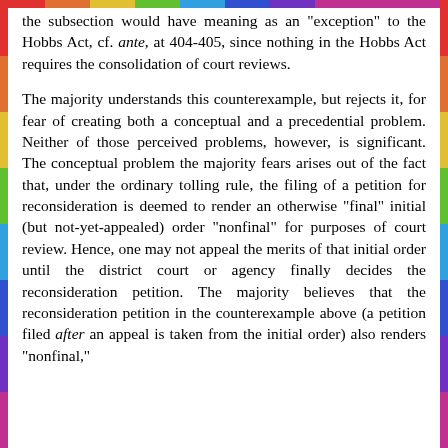the subsection would have meaning as an "exception" to the Hobbs Act, cf. ante, at 404-405, since nothing in the Hobbs Act requires the consolidation of court reviews.
The majority understands this counterexample, but rejects it, for fear of creating both a conceptual and a precedential problem. Neither of those perceived problems, however, is significant. The conceptual problem the majority fears arises out of the fact that, under the ordinary tolling rule, the filing of a petition for reconsideration is deemed to render an otherwise "final" initial (but not-yet-appealed) order "nonfinal" for purposes of court review. Hence, one may not appeal the merits of that initial order until the district court or agency finally decides the reconsideration petition. The majority believes that the reconsideration petition in the counterexample above (a petition filed after an appeal is taken from the initial order) also renders "nonfinal,"